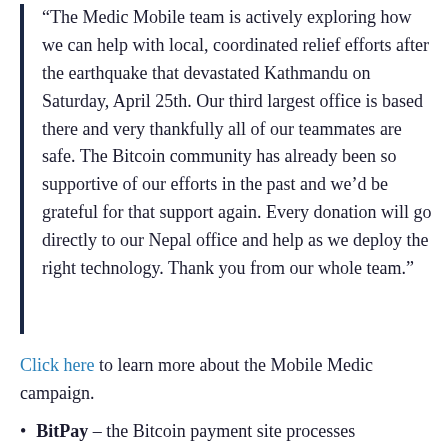“The Medic Mobile team is actively exploring how we can help with local, coordinated relief efforts after the earthquake that devastated Kathmandu on Saturday, April 25th. Our third largest office is based there and very thankfully all of our teammates are safe. The Bitcoin community has already been so supportive of our efforts in the past and we’d be grateful for that support again. Every donation will go directly to our Nepal office and help as we deploy the right technology. Thank you from our whole team.”
Click here to learn more about the Mobile Medic campaign.
BitPay – the Bitcoin payment site processes